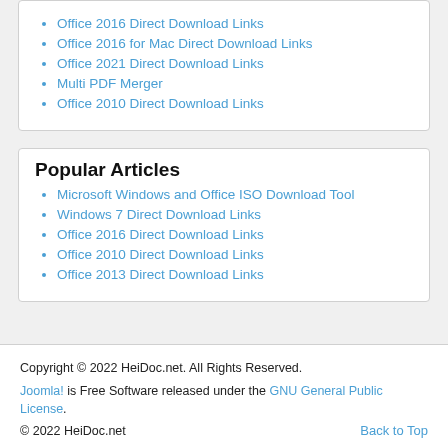Office 2016 Direct Download Links
Office 2016 for Mac Direct Download Links
Office 2021 Direct Download Links
Multi PDF Merger
Office 2010 Direct Download Links
Popular Articles
Microsoft Windows and Office ISO Download Tool
Windows 7 Direct Download Links
Office 2016 Direct Download Links
Office 2010 Direct Download Links
Office 2013 Direct Download Links
Copyright © 2022 HeiDoc.net. All Rights Reserved.
Joomla! is Free Software released under the GNU General Public License.
© 2022 HeiDoc.net
Back to Top